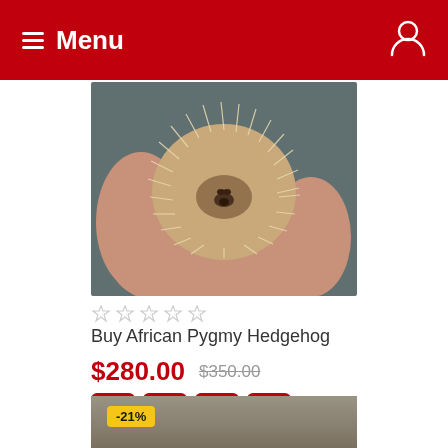Menu
[Figure (photo): A small hedgehog curled up in a person's palm, with spines visible, held against a dark background.]
★★★★★ (empty stars)
Buy African Pygmy Hedgehog
$280.00  $350.00
[Figure (photo): Partial view of a second product listing showing a hedgehog image with a -21% badge.]